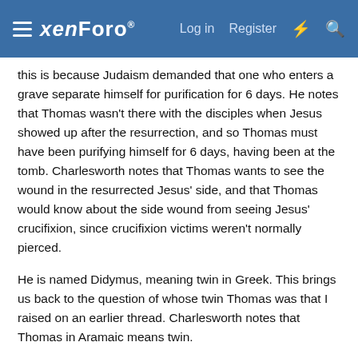xenForo — Log in | Register
this is because Judaism demanded that one who enters a grave separate himself for purification for 6 days. He notes that Thomas wasn't there with the disciples when Jesus showed up after the resurrection, and so Thomas must have been purifying himself for 6 days, having been at the tomb. Charlesworth notes that Thomas wants to see the wound in the resurrected Jesus' side, and that Thomas would know about the side wound from seeing Jesus' crucifixion, since crucifixion victims weren't normally pierced.
He is named Didymus, meaning twin in Greek. This brings us back to the question of whose twin Thomas was that I raised on an earlier thread. Charlesworth notes that Thomas in Aramaic means twin.
The narrator toys with the idea that this could mean that Judah Thomas could be Jesus' son, because a twin looks like a brother like a son looks like his father. But this option doesn't sound good to me because I think Jesus said "Son behold your